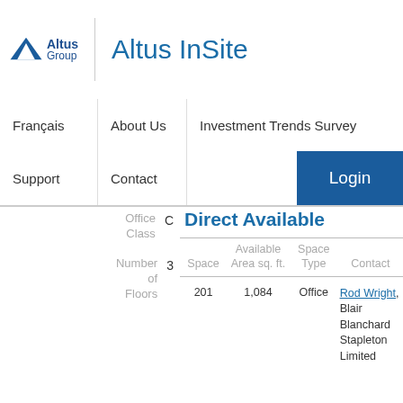Altus InSite
Français | About Us | Investment Trends Survey | Support | Contact | Login
Office Class: C
Number of Floors: 3
Direct Available
| Space | Available Area sq. ft. | Space Type | Contact |
| --- | --- | --- | --- |
| 201 | 1,084 | Office | Rod Wright, Blair Blanchard Stapleton Limited |